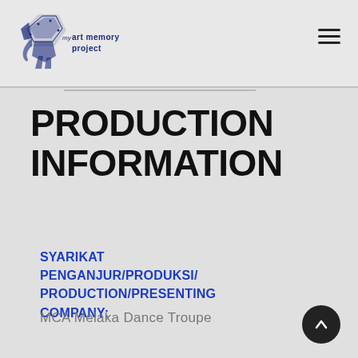art memory project
PRODUCTION INFORMATION
SYARIKAT PENGANJUR/PRODUKSI/PRODUCTION/PRESENTING COMPANY:
MCA Melaka Dance Troupe
PENGARAH ARTISTIK/PENGURUS